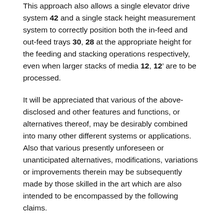This approach also allows a single elevator drive system 42 and a single stack height measurement system to correctly position both the in-feed and out-feed trays 30, 28 at the appropriate height for the feeding and stacking operations respectively, even when larger stacks of media 12, 12' are to be processed.
It will be appreciated that various of the above-disclosed and other features and functions, or alternatives thereof, may be desirably combined into many other different systems or applications. Also that various presently unforeseen or unanticipated alternatives, modifications, variations or improvements therein may be subsequently made by those skilled in the art which are also intended to be encompassed by the following claims.
Patent Citations (11)
| Publication number | Priority date | Publication date | Ass |
| --- | --- | --- | --- |
| US4483527A * | 1982-06-15 | 1984-11-20 | Dai Scr Sei |